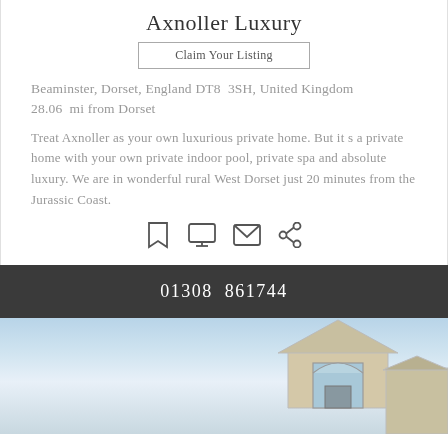Axnoller Luxury
Claim Your Listing
Beaminster, Dorset, England DT8 3SH, United Kingdom 28.06 mi from Dorset
Treat Axnoller as your own luxurious private home. But it s a private home with your own private indoor pool, private spa and absolute luxury. We are in wonderful rural West Dorset just 20 minutes from the Jurassic Coast.
[Figure (infographic): Four icons in a row: bookmark, monitor, envelope, share]
01308 861744
[Figure (photo): Exterior photo of a house with a blue sky, showing roofline and arched window on the right side]